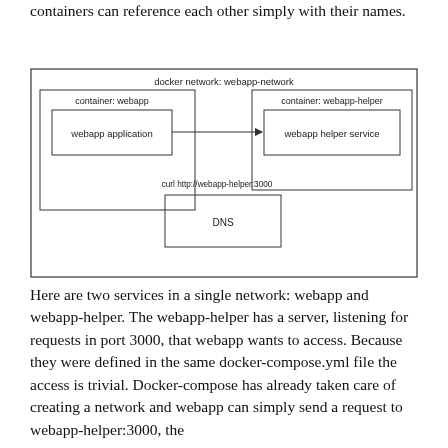containers can reference each other simply with their names.
[Figure (network-graph): Docker network diagram showing 'docker network: webapp-network' as the outer container. Inside, on the left: 'container: webapp' box containing 'webapp application' box. On the right: 'container: webapp-helper' box containing 'webapp helper service' box. An arrow goes from the left side to webapp helper service labeled 'curl http://webapp-helper:3000'. At the bottom center is a box labeled 'DNS'.]
Here are two services in a single network: webapp and webapp-helper. The webapp-helper has a server, listening for requests in port 3000, that webapp wants to access. Because they were defined in the same docker-compose.yml file the access is trivial. Docker-compose has already taken care of creating a network and webapp can simply send a request to webapp-helper:3000, the